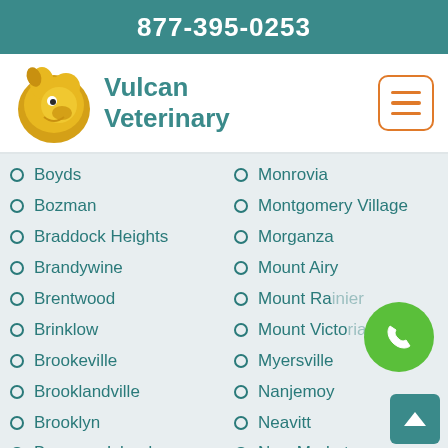877-395-0253
[Figure (logo): Vulcan Veterinary logo with golden dog illustration and teal text]
Boyds
Bozman
Braddock Heights
Brandywine
Brentwood
Brinklow
Brookeville
Brooklandville
Brooklyn
Broomes Island
Brownsville
Brunswick
Monrovia
Montgomery Village
Morganza
Mount Airy
Mount Rainier
Mount Victoria
Myersville
Nanjemoy
Neavitt
New Market
New Midway
New Windsor